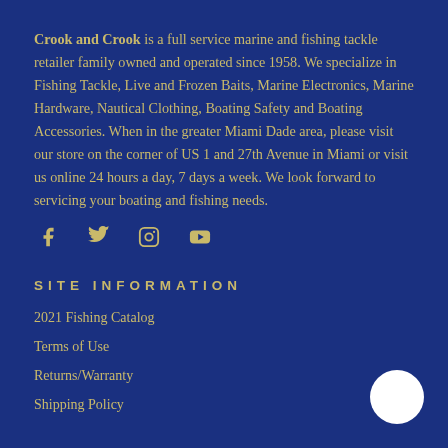Crook and Crook is a full service marine and fishing tackle retailer family owned and operated since 1958. We specialize in Fishing Tackle, Live and Frozen Baits, Marine Electronics, Marine Hardware, Nautical Clothing, Boating Safety and Boating Accessories. When in the greater Miami Dade area, please visit our store on the corner of US 1 and 27th Avenue in Miami or visit us online 24 hours a day, 7 days a week. We look forward to servicing your boating and fishing needs.
[Figure (infographic): Social media icons: Facebook, Twitter, Instagram, YouTube]
SITE INFORMATION
2021 Fishing Catalog
Terms of Use
Returns/Warranty
Shipping Policy